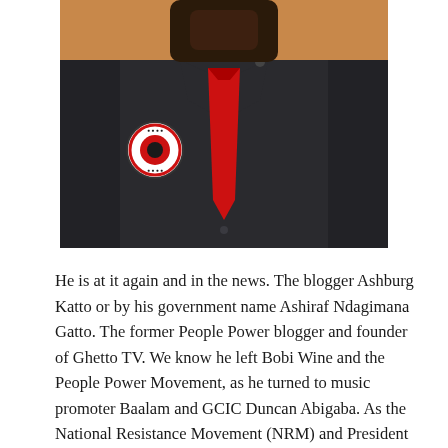[Figure (photo): A person wearing a dark/black button-up shirt with a bright red tie and a circular badge/patch on the left chest. The background is a warm orange/tan color. Only the torso and lower face/beard are visible.]
He is at it again and in the news. The blogger Ashburg Katto or by his government name Ashiraf Ndagimana Gatto. The former People Power blogger and founder of Ghetto TV. We know he left Bobi Wine and the People Power Movement, as he turned to music promoter Baalam and GCIC Duncan Abigaba. As the National Resistance Movement (NRM) and President Museveni wanted to